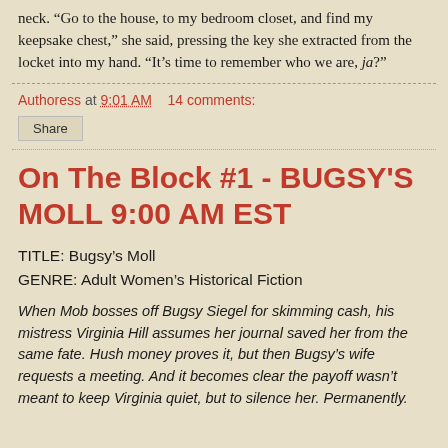neck. “Go to the house, to my bedroom closet, and find my keepsake chest,” she said, pressing the key she extracted from the locket into my hand. “It’s time to remember who we are, ja?”
Authoress at 9:01 AM    14 comments:
Share
On The Block #1 - BUGSY'S MOLL 9:00 AM EST
TITLE: Bugsy’s Moll
GENRE: Adult Women’s Historical Fiction
When Mob bosses off Bugsy Siegel for skimming cash, his mistress Virginia Hill assumes her journal saved her from the same fate. Hush money proves it, but then Bugsy’s wife requests a meeting. And it becomes clear the payoff wasn’t meant to keep Virginia quiet, but to silence her. Permanently.